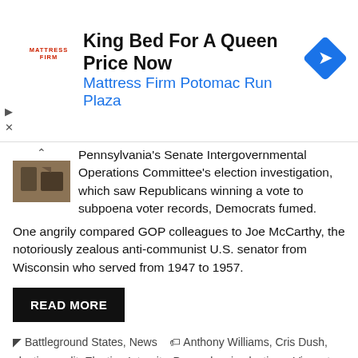[Figure (advertisement): Mattress Firm ad banner: 'King Bed For A Queen Price Now / Mattress Firm Potomac Run Plaza' with Mattress Firm logo and blue diamond navigation icon]
Pennsylvania's Senate Intergovernmental Operations Committee's election investigation, which saw Republicans winning a vote to subpoena voter records, Democrats fumed.
One angrily compared GOP colleagues to Joe McCarthy, the notoriously zealous anti-communist U.S. senator from Wisconsin who served from 1947 to 1957.
READ MORE
Battleground States, News  Anthony Williams, Cris Dush, election audit, Election Integrity, Pennsylvania elections, Vincent Hughes
Leave a comment
Lawmaker Gears Up to Grill Pennsylvania